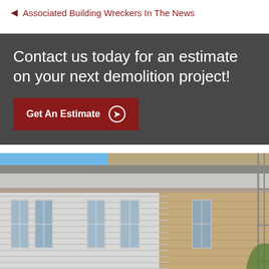◄ Associated Building Wreckers In The News
Contact us today for an estimate on your next demolition project!
Get An Estimate ❯
[Figure (photo): Exterior photograph of an old multi-story building under demolition, showing white clapboard siding being stripped to reveal brick underneath, tall windows, and a blue sky background.]